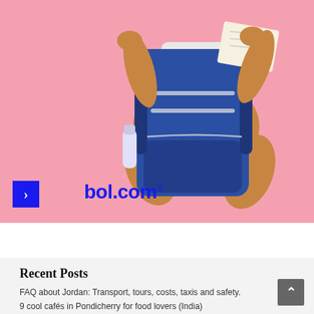[Figure (photo): Advertisement image on pink background showing a person sitting cross-legged holding a map, with a large blue travel backpack in front of them. A blue navigation arrow button is at the bottom left, and the bol.com logo is displayed at the bottom center.]
Recent Posts
FAQ about Jordan: Transport, tours, costs, taxis and safety.
9 cool cafés in Pondicherry for food lovers (India)